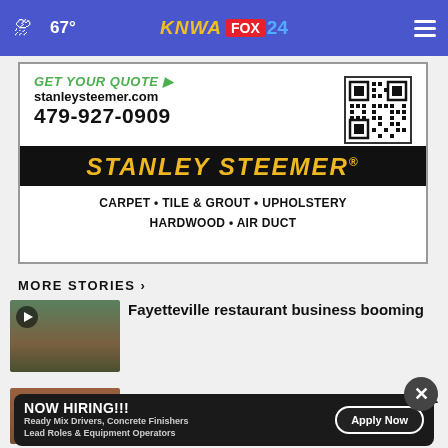67° KNWA FOX 24
[Figure (screenshot): Stanley Steemer advertisement: GET YOUR QUOTE ▶ stanleysteemer.com 479-927-0909 with QR code, STANLEY STEEMER® logo, CARPET • TILE & GROUT • UPHOLSTERY HARDWOOD • AIR DUCT]
MORE STORIES ›
[Figure (screenshot): Video thumbnail of a building/castle with play button]
Fayetteville restaurant business booming
[Figure (screenshot): Video thumbnail with play button]
...s it
[Figure (screenshot): NOW HIRING!!! Ready Mix Drivers, Concrete Finishers Lead Roles & Equipment Operators — Apply Now]